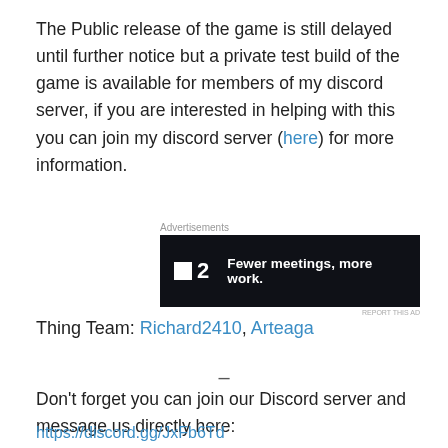The Public release of the game is still delayed until further notice but a private test build of the game is available for members of my discord server, if you are interested in helping with this you can join my discord server (here) for more information.
Advertisements
[Figure (other): Dark advertisement banner for P2 with tagline: Fewer meetings, more work.]
Thing Team: Richard2410, Arteaga
–
Don't forget you can join our Discord server and message us directly here:
https://discord.gg/JxFb6Td